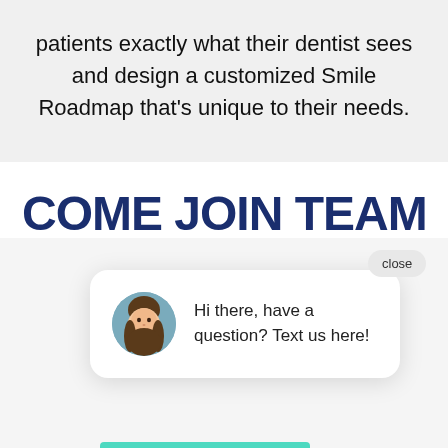patients exactly what their dentist sees and design a customized Smile Roadmap that's unique to their needs.
COME JOIN TEAM
[Figure (screenshot): Chat popup widget with a woman's avatar photo, text 'Hi there, have a question? Text us here!', a close button, an APPLY NOW button, and a dark blue chat icon.]